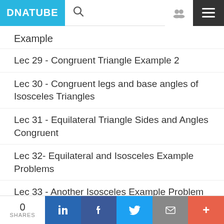DNATUBE
Example
Lec 29 - Congruent Triangle Example 2
Lec 30 - Congruent legs and base angles of Isosceles Triangles
Lec 31 - Equilateral Triangle Sides and Angles Congruent
Lec 32- Equilateral and Isosceles Example Problems
Lec 33 - Another Isosceles Example Problem
0 SHARES | Share on LinkedIn | Share on Facebook | Share on Twitter | Share via Email | More